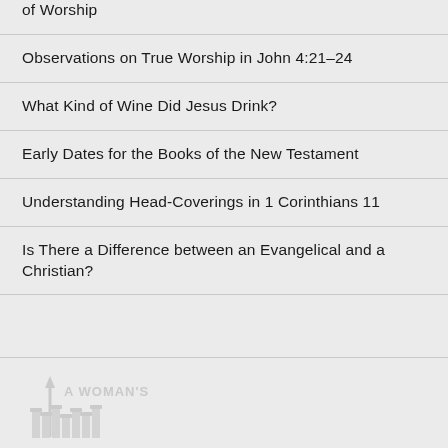of Worship
Observations on True Worship in John 4:21–24
What Kind of Wine Did Jesus Drink?
Early Dates for the Books of the New Testament
Understanding Head-Coverings in 1 Corinthians 11
Is There a Difference between an Evangelical and a Christian?
[Figure (logo): A Woman's logo with upward arrow and stylized column letters at bottom of page]